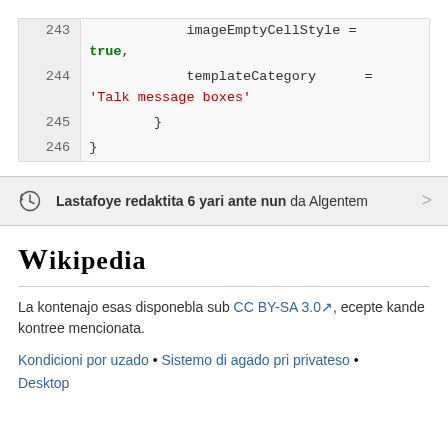243   imageEmptyCellStyle = true,
244   templateCategory = 'Talk message boxes'
245   }
246 }
Lastafoye redaktita 6 yari ante nun da Algentem
Wikipedia
La kontenajo esas disponebla sub CC BY-SA 3.0, ecepte kande kontree mencionata.
Kondicioni por uzado • Sistemo di agado pri privateso • Desktop